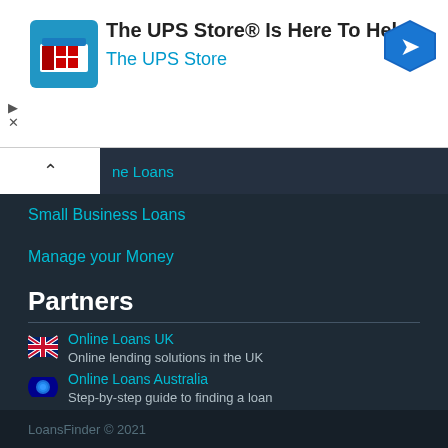[Figure (infographic): UPS Store advertisement banner with store icon, headline 'The UPS Store® Is Here To Help', subtext 'The UPS Store', navigation arrow logo, and close/play controls]
ne Loans
Small Business Loans
Manage your Money
Partners
Online Loans UK — Online lending solutions in the UK
Online Loans South Africa — Comprehensive guide to online loans in SA
Online Loans Australia — Step-by-step guide to finding a loan
LoansFinder © 2021